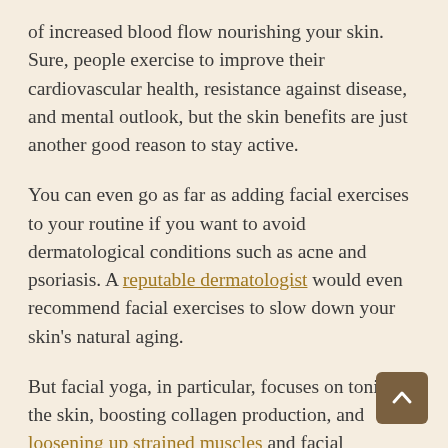of increased blood flow nourishing your skin. Sure, people exercise to improve their cardiovascular health, resistance against disease, and mental outlook, but the skin benefits are just another good reason to stay active.
You can even go as far as adding facial exercises to your routine if you want to avoid dermatological conditions such as acne and psoriasis. A reputable dermatologist would even recommend facial exercises to slow down your skin's natural aging.
But facial yoga, in particular, focuses on toning the skin, boosting collagen production, and loosening up strained muscles and facial expressions. This type of exercise can also rejuvenate your face, addressing issues such as furrowed brows and sunken cheeks. T make sure you're working out the different layers of